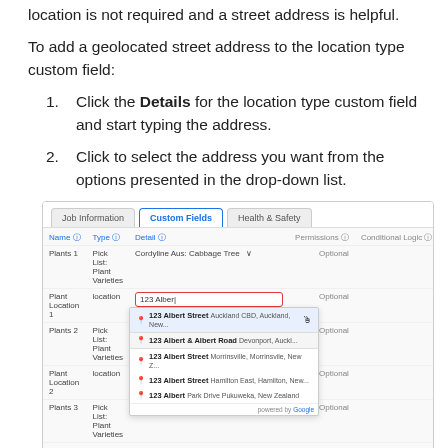location is not required and a street address is helpful.
To add a geolocated street address to the location type custom field:
Click the Details for the location type custom field and start typing the address.
Click to select the address you want from the options presented in the drop-down list.
[Figure (screenshot): Screenshot of a custom fields table with tabs 'Job Information', 'Custom Fields', 'Health & Safety'. Shows rows including Plant Location 1, Plants 2, Plant Location 2, Plants 3, Plant Location 3. An input box shows '123 Alber' typed with a Google Maps autocomplete dropdown showing suggestions for '123 Albert Street' in various locations.]
Once selected, the geolocated address becomes this...